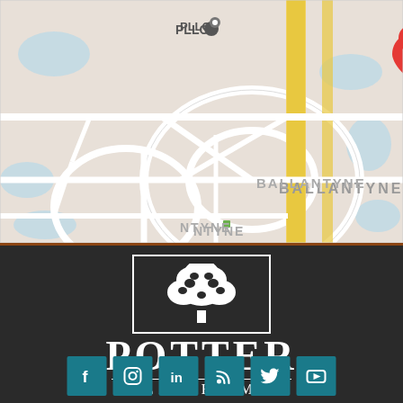[Figure (map): Google Maps screenshot showing the location of The Potter Law Firm near Ballantyne area. A red map pin labeled 'The Potter Law Firm' is shown. The map shows road networks, PLLC label, and the BALLANTYNE neighborhood name.]
[Figure (logo): Potter Law Firm logo: a white tree silhouette inside a white rectangle border, with 'POTTER' in large serif letters below, a horizontal divider line, and 'LAW FIRM' in smaller spaced serif letters. Set on a dark charcoal background with a brown/rust top border.]
[Figure (other): Social media icon bar with six teal square buttons: Facebook (f), Instagram (camera), LinkedIn (in), RSS feed, Twitter (bird), YouTube (play button).]